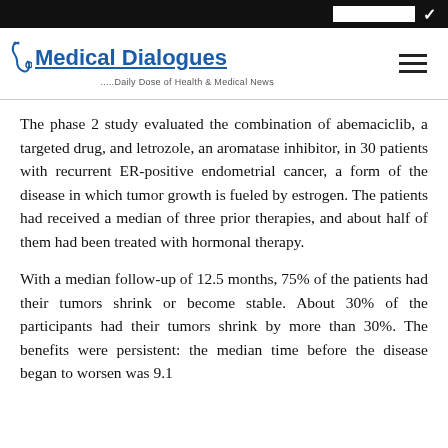Medical Dialogues — Daily Dose of Health & Medical News
The phase 2 study evaluated the combination of abemaciclib, a targeted drug, and letrozole, an aromatase inhibitor, in 30 patients with recurrent ER-positive endometrial cancer, a form of the disease in which tumor growth is fueled by estrogen. The patients had received a median of three prior therapies, and about half of them had been treated with hormonal therapy.
With a median follow-up of 12.5 months, 75% of the patients had their tumors shrink or become stable. About 30% of the participants had their tumors shrink by more than 30%. The benefits were persistent: the median time before the disease began to worsen was 9.1